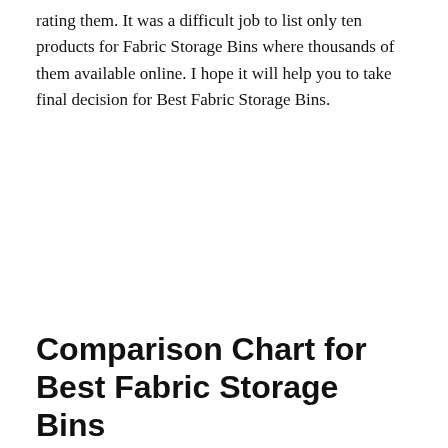rating them. It was a difficult job to list only ten products for Fabric Storage Bins where thousands of them available online. I hope it will help you to take final decision for Best Fabric Storage Bins.
Comparison Chart for Best Fabric Storage Bins
In this article we've included our suggestions for the Fabric Storage Bins after analyzing 51903 reviews.
| NO | PRODUCT | SCORE | ACTION |
| --- | --- | --- | --- |
|  | IRIS USA 42 Qt. Plastic Storage Bin Tote... |  |  |